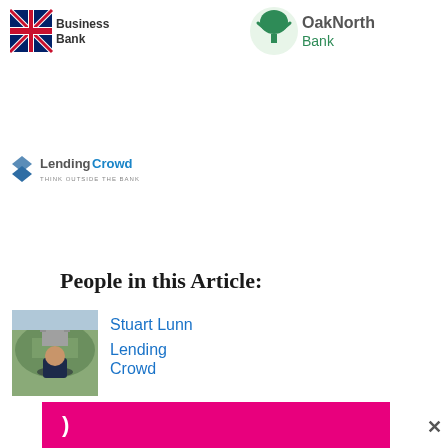[Figure (logo): British Business Bank logo with Union Jack flag icon and text 'Business Bank']
[Figure (logo): OakNorth Bank logo with green tree icon and text 'OakNorth Bank']
[Figure (logo): LendingCrowd logo with diamond chevron icon and tagline 'THINK OUTSIDE THE BANK']
People in this Article:
[Figure (photo): Photo of Stuart Lunn, a man in a dark suit standing outdoors with a castle/hill in background]
Stuart Lunn
Lending Crowd
[Figure (other): Magenta/pink popup bar with closing button (×) and a right parenthesis symbol]